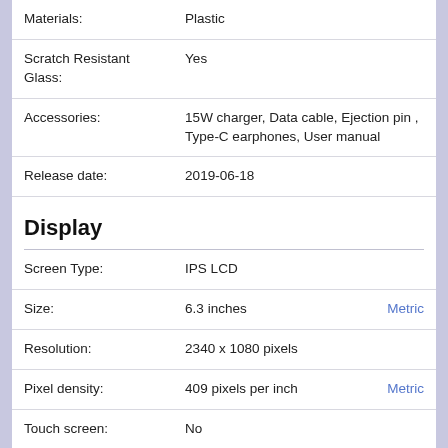| Property | Value |
| --- | --- |
| Materials: | Plastic |
| Scratch Resistant Glass: | Yes |
| Accessories: | 15W charger, Data cable, Ejection pin , Type-C earphones, User manual |
| Release date: | 2019-06-18 |
Display
| Property | Value |  |
| --- | --- | --- |
| Screen Type: | IPS LCD |  |
| Size: | 6.3 inches | Metric |
| Resolution: | 2340 x 1080 pixels |  |
| Pixel density: | 409 pixels per inch | Metric |
| Touch screen: | No |  |